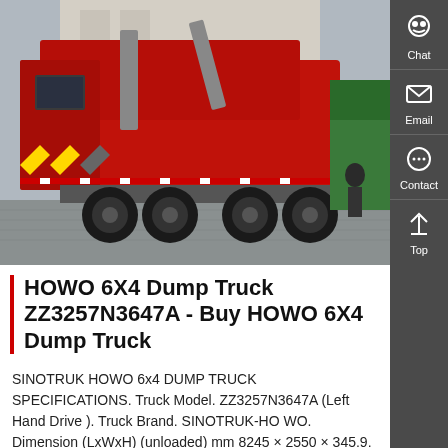[Figure (photo): Red SINOTRUK HOWO 6x4 dump truck photographed from rear-left angle, parked on a paved surface near a building and a green vehicle. Multiple trucks visible.]
HOWO 6X4 Dump Truck ZZ3257N3647A - Buy HOWO 6X4 Dump Truck
SINOTRUK HOWO 6x4 DUMP TRUCK SPECIFICATIONS. Truck Model. ZZ3257N3647A (Left Hand Drive ). Truck Brand. SINOTRUK-HO WO. Dimension (LxWxH) (unloaded) mm 8245 × 2550 × 345.9. Body Carriage Internal